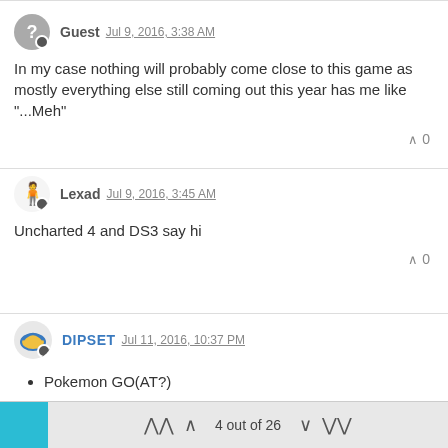Guest  Jul 9, 2016, 3:38 AM
In my case nothing will probably come close to this game as mostly everything else still coming out this year has me like "...Meh"
0
Lexad  Jul 9, 2016, 3:45 AM
Uncharted 4 and DS3 say hi
0
DIPSET  Jul 11, 2016, 10:37 PM
Pokemon GO(AT?)
Runescape update
Tinder
0
4 out of 26